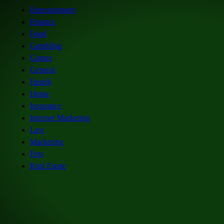Entertainment
Finance
Food
Gambling
Games
General
Health
Home
Insurance
Internet Marketing
Law
Marketing
Pets
Real Estate